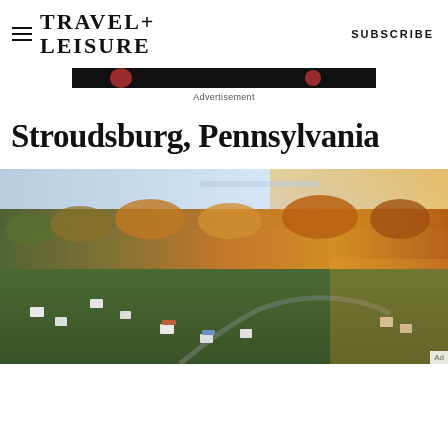TRAVEL+ LEISURE   SUBSCRIBE
[Figure (other): Advertisement banner with black background and red circular dots]
Advertisement
Stroudsburg, Pennsylvania
[Figure (photo): Aerial drone photograph of Stroudsburg, Pennsylvania showing colorful autumn foliage, scattered houses with winding road, and warm golden light at sunset or sunrise]